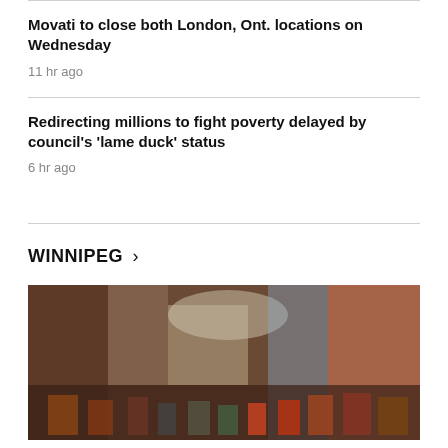Movati to close both London, Ont. locations on Wednesday
11 hr ago
Redirecting millions to fight poverty delayed by council's 'lame duck' status
6 hr ago
WINNIPEG >
[Figure (photo): Blurred interior image of a store or retail/entertainment venue with shelves of products and colorful lighting]